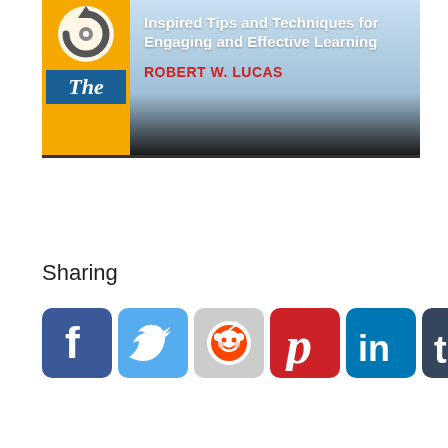[Figure (illustration): Book cover showing 'Inspired Tips and Techniques for Engaging and Effective Learning' by Robert W. Lucas, with yellow left panel containing an icon and 'The' label, and a sky/landscape background on the right.]
Sharing
[Figure (infographic): Row of social media sharing buttons: Facebook, Twitter, Reddit, Pinterest, LinkedIn, Tumblr, Email]